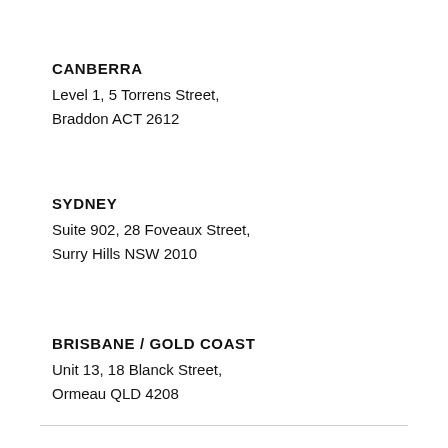CANBERRA
Level 1, 5 Torrens Street,
Braddon ACT 2612
SYDNEY
Suite 902, 28 Foveaux Street,
Surry Hills NSW 2010
BRISBANE / GOLD COAST
Unit 13, 18 Blanck Street,
Ormeau QLD 4208